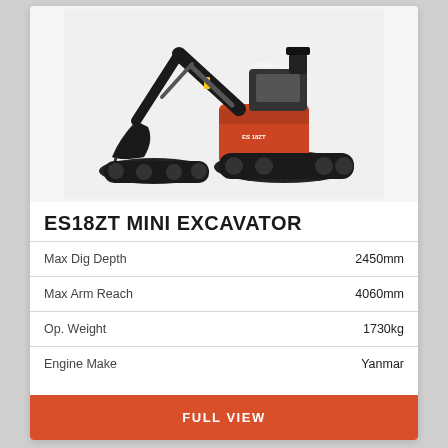[Figure (photo): Black and orange ES18ZT mini excavator with boom arm extended and bucket, on rubber tracks, side/front three-quarter view]
ES18ZT MINI EXCAVATOR
| Specification | Value |
| --- | --- |
| Max Dig Depth | 2450mm |
| Max Arm Reach | 4060mm |
| Op. Weight | 1730kg |
| Engine Make | Yanmar |
FULL VIEW